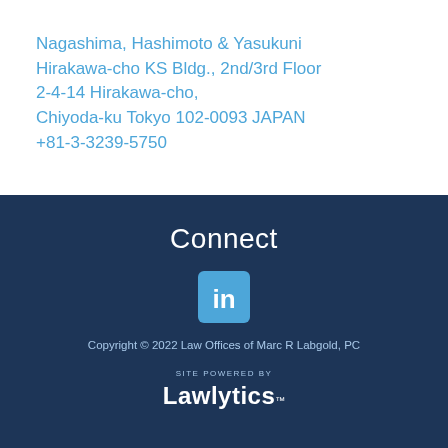Nagashima, Hashimoto & Yasukuni
Hirakawa-cho KS Bldg., 2nd/3rd Floor
2-4-14 Hirakawa-cho,
Chiyoda-ku Tokyo 102-0093 JAPAN
+81-3-3239-5750
Connect
[Figure (logo): LinkedIn logo icon — blue rounded square with white 'in' text]
Copyright © 2022 Law Offices of Marc R Labgold, PC
[Figure (logo): Lawlytics logo — 'SITE POWERED BY' in small caps above 'Lawlytics' in bold white text with trademark symbol]